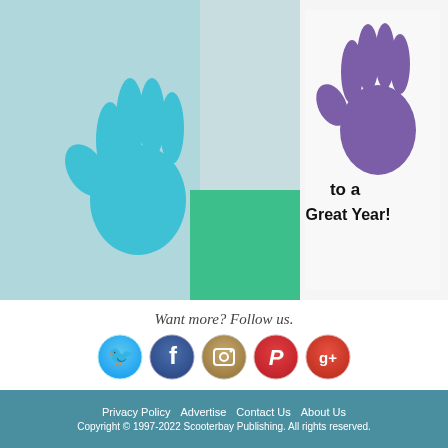[Figure (photo): Handprint art photo showing a purple handprint and a teal handprint on cards, with text 'to a Great Year!' visible on a white card, colorful teal and green background]
Want more? Follow us.
[Figure (infographic): Row of five social media icon circles: Twitter (blue bird), Facebook (dark blue f), Instagram (tan camera), Pinterest (red P), Google+ (red g+)]
Privacy Policy   Advertise   Contact Us   About Us
Copyright © 1997-2022 Scooterbay Publishing. All rights reserved.